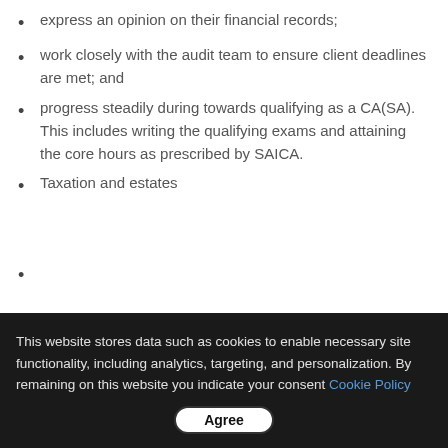express an opinion on their financial records;
work closely with the audit team to ensure client deadlines are met; and
progress steadily during towards qualifying as a CA(SA). This includes writing the qualifying exams and attaining the core hours as prescribed by SAICA.
Taxation and estates
This website stores data such as cookies to enable necessary site functionality, including analytics, targeting, and personalization. By remaining on this website you indicate your consent Cookie Policy
Agree